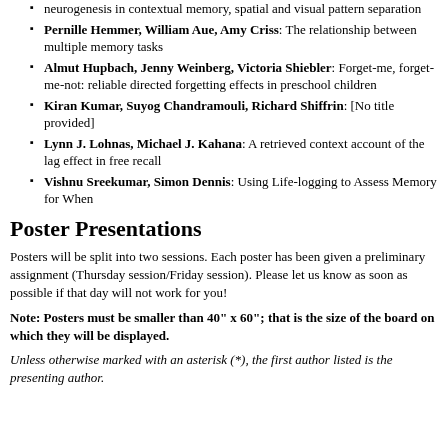neurogenesis in contextual memory, spatial and visual pattern separation
Pernille Hemmer, William Aue, Amy Criss: The relationship between multiple memory tasks
Almut Hupbach, Jenny Weinberg, Victoria Shiebler: Forget-me, forget-me-not: reliable directed forgetting effects in preschool children
Kiran Kumar, Suyog Chandramouli, Richard Shiffrin: [No title provided]
Lynn J. Lohnas, Michael J. Kahana: A retrieved context account of the lag effect in free recall
Vishnu Sreekumar, Simon Dennis: Using Life-logging to Assess Memory for When
Poster Presentations
Posters will be split into two sessions. Each poster has been given a preliminary assignment (Thursday session/Friday session). Please let us know as soon as possible if that day will not work for you!
Note: Posters must be smaller than 40" x 60"; that is the size of the board on which they will be displayed.
Unless otherwise marked with an asterisk (*), the first author listed is the presenting author.